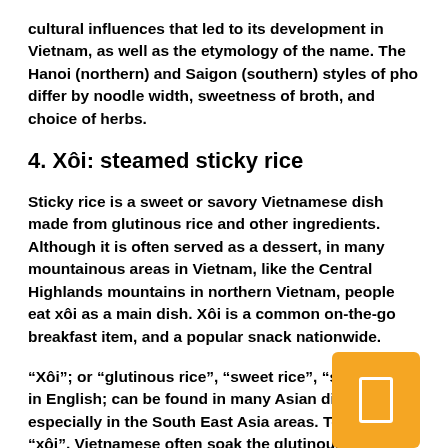cultural influences that led to its development in Vietnam, as well as the etymology of the name. The Hanoi (northern) and Saigon (southern) styles of pho differ by noodle width, sweetness of broth, and choice of herbs.
4. Xôi: steamed sticky rice
Sticky rice is a sweet or savory Vietnamese dish made from glutinous rice and other ingredients. Although it is often served as a dessert, in many mountainous areas in Vietnam, like the Central Highlands mountains in northern Vietnam, people eat xôi as a main dish. Xôi is a common on-the-go breakfast item, and a popular snack nationwide.
“Xôi”; or “glutinous rice”, “sweet rice”, “sticky rice” in English; can be found in many Asian dishes, especially in the South East Asia areas. To cook “xôi”, Vietnamese often soak the glutinous rice for around
[Figure (other): Orange rounded rectangle box with a white document/page icon in the center]